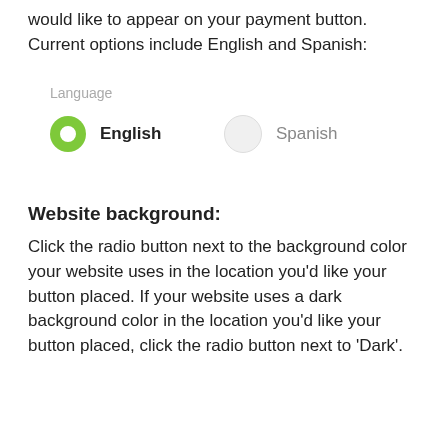would like to appear on your payment button. Current options include English and Spanish:
[Figure (screenshot): Language selection with two radio buttons: English (selected, green filled circle) and Spanish (unselected, empty circle)]
Website background:
Click the radio button next to the background color your website uses in the location you'd like your button placed. If your website uses a dark background color in the location you'd like your button placed, click the radio button next to 'Dark'.